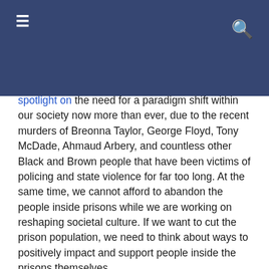spotlight on the need for a paradigm shift within our society now more than ever, due to the recent murders of Breonna Taylor, George Floyd, Tony McDade, Ahmaud Arbery, and countless other Black and Brown people that have been victims of policing and state violence for far too long. At the same time, we cannot afford to abandon the people inside prisons while we are working on reshaping societal culture. If we want to cut the prison population, we need to think about ways to positively impact and support people inside the prisons themselves.
Implementing a sentencing credit system could do just that. Several analyses of public safety and cost-benefits resulting from different credit systems show that they not only save states millions of dollars by reducing